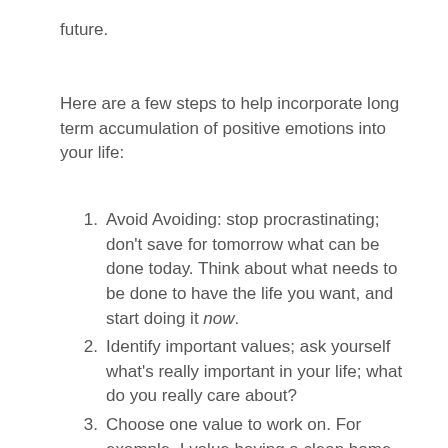future.
Here are a few steps to help incorporate long term accumulation of positive emotions into your life:
Avoid Avoiding: stop procrastinating; don't save for tomorrow what can be done today. Think about what needs to be done to have the life you want, and start doing it now.
Identify important values; ask yourself what's really important in your life; what do you really care about?
Choose one value to work on. For example, I value having a clean home.
Identify a goal related to that value; what specific goal can you work on that will make this value part of your life? To continue our example, a goal is...